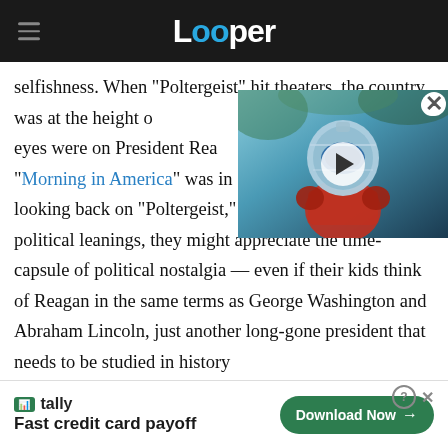Looper
selfishness. When "Poltergeist" hit theaters, the country was at the height of ... eyes were on President Reagan ... "Morning in America" was in ... looking back on "Poltergeist," regardless of their political leanings, they might appreciate the time-capsule of political nostalgia — even if their kids think of Reagan in the same terms as George Washington and Abraham Lincoln, just another long-gone president that needs to be studied in history
[Figure (screenshot): Video thumbnail overlay showing a person in a superhero/sci-fi helmet and suit, with a play button in the center and a close (X) button in the top right corner.]
[Figure (other): Tally advertisement banner: 'Fast credit card payoff' with a green Download Now button and close/help icons.]